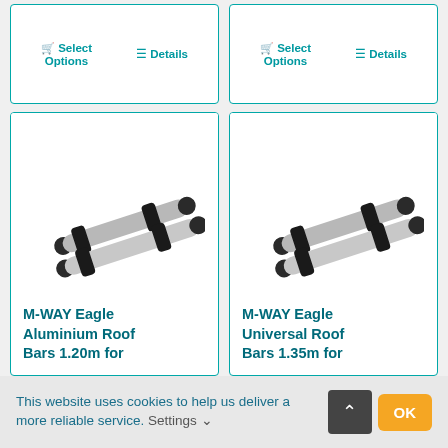[Figure (other): Two buttons: Select Options and Details for first product card (top left)]
[Figure (other): Two buttons: Select Options and Details for second product card (top right)]
[Figure (photo): M-WAY Eagle Aluminium Roof Bars 1.20m – photo of two aluminium roof bars with black clamps]
M-WAY Eagle Aluminium Roof Bars 1.20m for
[Figure (photo): M-WAY Eagle Universal Roof Bars 1.35m – photo of two aluminium roof bars with black clamps]
M-WAY Eagle Universal Roof Bars 1.35m for
This website uses cookies to help us deliver a more reliable service. Settings ∨